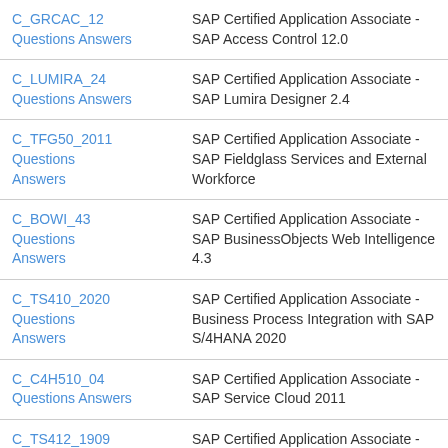|  |  |
| --- | --- |
| C_GRCAC_12 Questions Answers | SAP Certified Application Associate - SAP Access Control 12.0 |
| C_LUMIRA_24 Questions Answers | SAP Certified Application Associate - SAP Lumira Designer 2.4 |
| C_TFG50_2011 Questions Answers | SAP Certified Application Associate - SAP Fieldglass Services and External Workforce |
| C_BOWI_43 Questions Answers | SAP Certified Application Associate - SAP BusinessObjects Web Intelligence 4.3 |
| C_TS410_2020 Questions Answers | SAP Certified Application Associate - Business Process Integration with SAP S/4HANA 2020 |
| C_C4H510_04 Questions Answers | SAP Certified Application Associate - SAP Service Cloud 2011 |
| C_TS412_1909 | SAP Certified Application Associate - |